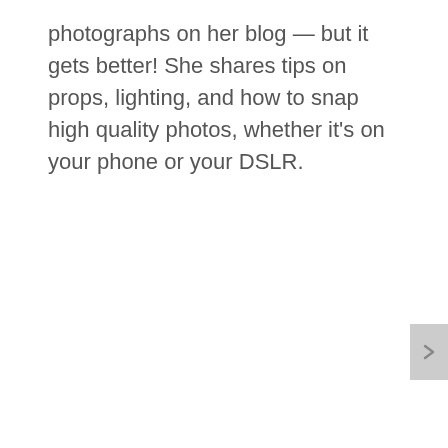photographs on her blog — but it gets better! She shares tips on props, lighting, and how to snap high quality photos, whether it's on your phone or your DSLR.